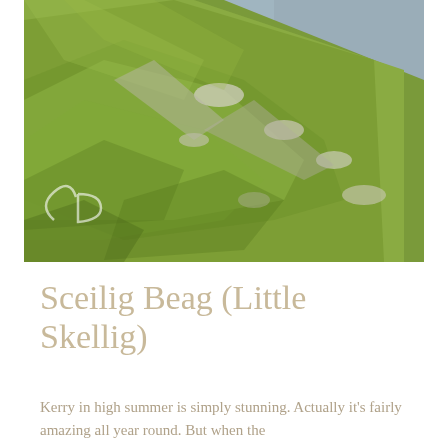[Figure (photo): Aerial photograph of a steep green grassy hillside sloping down toward a calm blue-grey sea. Rocky outcrops are visible through the dense green vegetation. A small watermark logo appears in the lower left corner of the image.]
Sceilig Beag (Little Skellig)
Kerry in high summer is simply stunning. Actually it's fairly amazing all year round. But when the